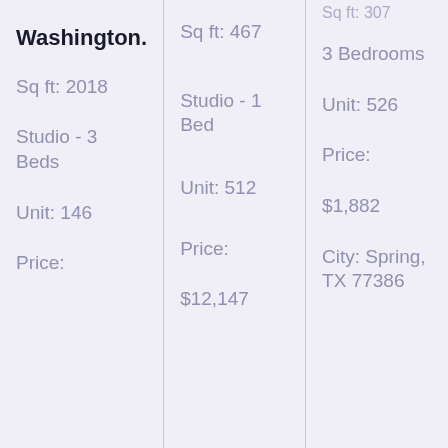Washington.
Sq ft: 2018
Studio - 3 Beds
Unit: 146
Price:
Sq ft: 467
Studio - 1 Bed
Unit: 512
Price:
$12,147
Sq ft: 307
3 Bedrooms
Unit: 526
Price:
$1,882
City: Spring, TX 77386